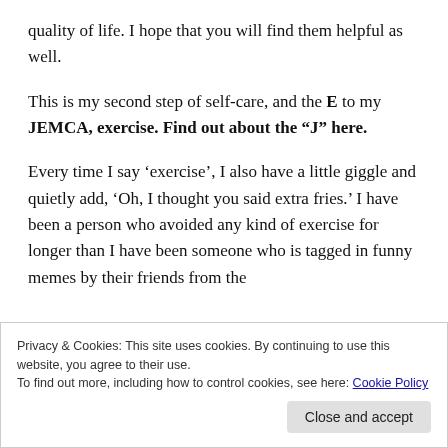quality of life. I hope that you will find them helpful as well.
This is my second step of self-care, and the E to my JEMCA, exercise. Find out about the “J” here.
Every time I say ‘exercise’, I also have a little giggle and quietly add, ‘Oh, I thought you said extra fries.’ I have been a person who avoided any kind of exercise for longer than I have been someone who is tagged in funny memes by their friends from the
Privacy & Cookies: This site uses cookies. By continuing to use this website, you agree to their use.
To find out more, including how to control cookies, see here: Cookie Policy
Close and accept